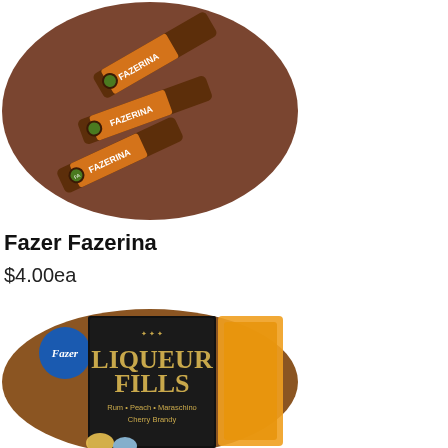[Figure (photo): Oval-shaped photo on brown background showing three Fazer Fazerina chocolate candy bars with orange and dark brown packaging]
Fazer Fazerina
$4.00ea
[Figure (photo): Oval-shaped photo on brown background showing a box of Fazer Liqueur Fills chocolates with flavors including Rum, Peach, Maraschino, Cherry Brandy, with orange and yellow packaging visible]